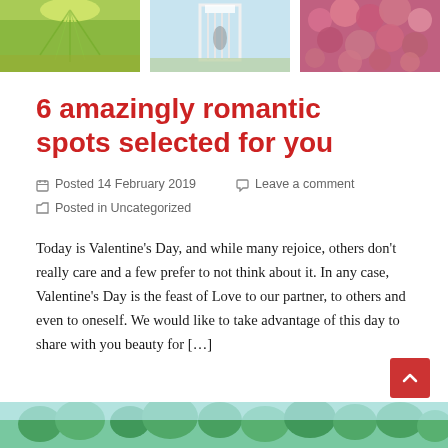[Figure (photo): Three photos side by side at top: willow tree/garden, wedding couple on white bridge, pink flowers]
6 amazingly romantic spots selected for you
Posted 14 February 2019   Leave a comment
Posted in Uncategorized
Today is Valentine's Day, and while many rejoice, others don't really care and a few prefer to not think about it. In any case, Valentine's Day is the feast of Love to our partner, to others and even to oneself. We would like to take advantage of this day to share with you beauty for […]
[Figure (photo): Partial nature/garden photo at bottom of page with trees and blue sky]